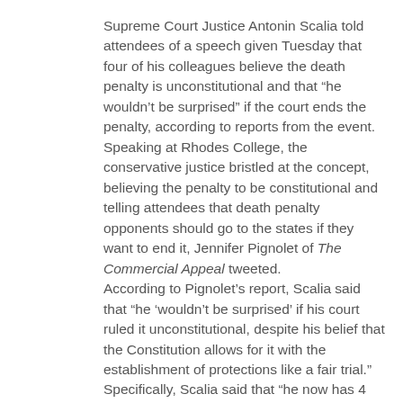Supreme Court Justice Antonin Scalia told attendees of a speech given Tuesday that four of his colleagues believe the death penalty is unconstitutional and that “he wouldn’t be surprised” if the court ends the penalty, according to reports from the event. Speaking at Rhodes College, the conservative justice bristled at the concept, believing the penalty to be constitutional and telling attendees that death penalty opponents should go to the states if they want to end it, Jennifer Pignolet of The Commercial Appeal tweeted. According to Pignolet’s report, Scalia said that “he ‘wouldn’t be surprised’ if his court ruled it unconstitutional, despite his belief that the Constitution allows for it with the establishment of protections like a fair trial.”  Specifically, Scalia said that “he now has 4 colleagues who believe it’s unconstitutional,” Pignolet tweeted. The statements provide new insight into the court’s internal discussions — or at least Scalia’s take on his colleagues — as his comments go